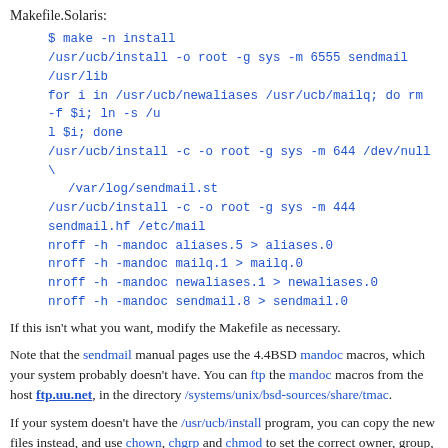Makefile.Solaris:
$ make -n install
/usr/ucb/install -o root -g sys -m 6555 sendmail /usr/lib
for i in /usr/ucb/newaliases /usr/ucb/mailq; do rm -f $i; ln -s /u
l $i; done
/usr/ucb/install -c -o root -g sys -m 644 /dev/null \
    /var/log/sendmail.st
/usr/ucb/install -c -o root -g sys -m 444 sendmail.hf /etc/mail
nroff -h -mandoc aliases.5 > aliases.0
nroff -h -mandoc mailq.1 > mailq.0
nroff -h -mandoc newaliases.1 > newaliases.0
nroff -h -mandoc sendmail.8 > sendmail.0
If this isn't what you want, modify the Makefile as necessary.
Note that the sendmail manual pages use the 4.4BSD mandoc macros, which your system probably doesn't have. You can ftp the mandoc macros from the host ftp.uu.net, in the directory /systems/unix/bsd-sources/share/tmac.
If your system doesn't have the /usr/ucb/install program, you can copy the new files instead, and use chown, chgrp and chmod to set the correct owner, group, and mode. However, if you're installing on top of your vendor's files, it's a good idea to first copy or rename them in case you ever need them again.